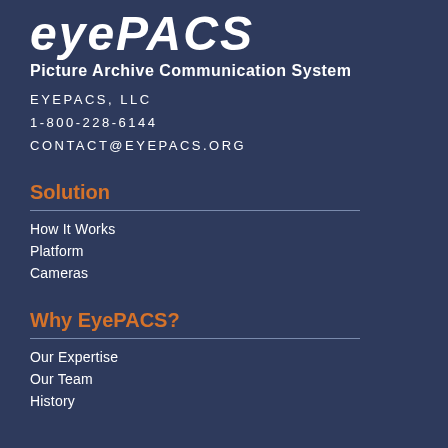[Figure (logo): eyePACS logo in bold white italic text on dark navy background]
Picture Archive Communication System
EYEPACS, LLC
1-800-228-6144
CONTACT@EYEPACS.ORG
Solution
How It Works
Platform
Cameras
Why EyePACS?
Our Expertise
Our Team
History